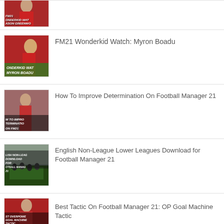[Figure (photo): Thumbnail of FM21 Wonderkid Watch Mason Greenwood article, showing a footballer in red kit, partially cropped at top]
[Figure (photo): Thumbnail of FM21 Wonderkid Watch Myron Boadu article, showing a footballer in red kit]
FM21 Wonderkid Watch: Myron Boadu
[Figure (photo): Thumbnail of How To Improve Determination On Football Manager 21 article, showing a footballer]
How To Improve Determination On Football Manager 21
[Figure (photo): Thumbnail of English Non-League Lower Leagues Download for Football Manager 21 article, showing football fans/crowd]
English Non-League Lower Leagues Download for Football Manager 21
[Figure (photo): Thumbnail of Best Tactic On Football Manager 21: OP Goal Machine Tactic article, partially cut off at bottom]
Best Tactic On Football Manager 21: OP Goal Machine Tactic